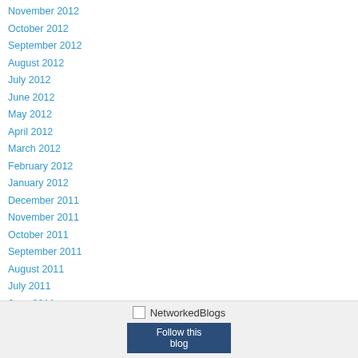November 2012
October 2012
September 2012
August 2012
July 2012
June 2012
May 2012
April 2012
March 2012
February 2012
January 2012
December 2011
November 2011
October 2011
September 2011
August 2011
July 2011
June 2011
NetworkedBlogs Follow this blog